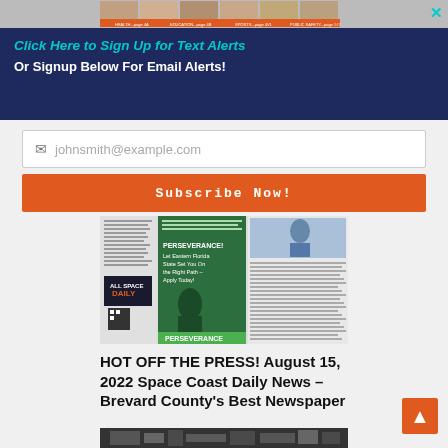[Figure (screenshot): Newspaper top strip with section thumbnails and close button]
Click Here to Sign Up for Text Alerts
Or Signup Below For Email Alerts!
johnsmith@example.com (email input placeholder)
Subscribe Now!
[Figure (screenshot): Newspaper front page for August 15, 2022 Space Coast Daily News with PERSEVERANCE advertisement]
HOT OFF THE PRESS! August 15, 2022 Space Coast Daily News – Brevard County's Best Newspaper
[Figure (photo): Bottom partial image of a building or storefront in black and white]